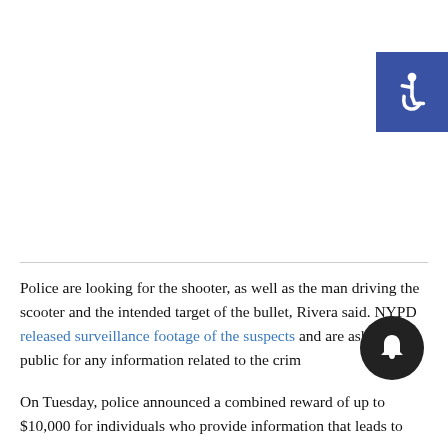[Figure (other): Blue accessibility icon button in top right corner showing wheelchair symbol]
Police are looking for the shooter, as well as the man driving the scooter and the intended target of the bullet, Rivera said. NYPD released surveillance footage of the suspects and are asking the public for any information related to the crim
On Tuesday, police announced a combined reward of up to $10,000 for individuals who provide information that leads to
[Figure (other): Dark circular notification bell button]